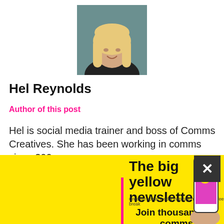[Figure (photo): Headshot of Hel Reynolds, a blonde woman smiling, photographed against a teal/dark background]
Hel Reynolds
Author of this post
Hel is social media trainer and boss of Comms Creatives. She has been working in comms since 200
We use coo experience visits. By cl cookies.
Cookie set
[Figure (infographic): Yellow newsletter banner popup. Title: The big yellow newsletter. Subtitle: Creative social media inspiration for your coffee break. Bottom text: Join thousands of comms and marketing professionals. Has a close X button and a phone image.]
The big yellow newsletter
Creative social media inspiration for your coffee break
Join thousands of comms and marketing professionals